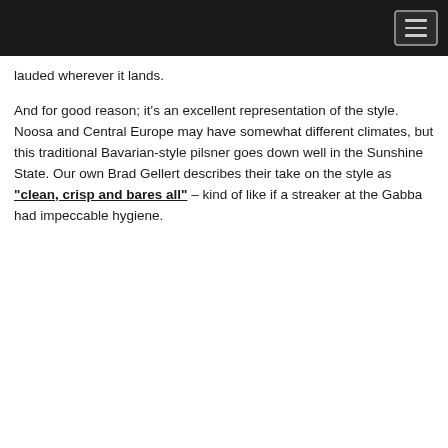lauded wherever it lands.
And for good reason; it's an excellent representation of the style. Noosa and Central Europe may have somewhat different climates, but this traditional Bavarian-style pilsner goes down well in the Sunshine State. Our own Brad Gellert describes their take on the style as "clean, crisp and bares all" – kind of like if a streaker at the Gabba had impeccable hygiene.